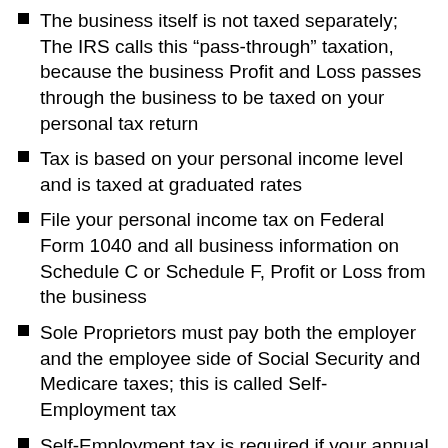The business itself is not taxed separately; The IRS calls this “pass-through” taxation, because the business Profit and Loss passes through the business to be taxed on your personal tax return
Tax is based on your personal income level and is taxed at graduated rates
File your personal income tax on Federal Form 1040 and all business information on Schedule C or Schedule F, Profit or Loss from the business
Sole Proprietors must pay both the employer and the employee side of Social Security and Medicare taxes; this is called Self-Employment tax
Self-Employment tax is required if your annual net-earnings is more than $400
The self-employment tax rate for 2014 is 15.3% of the first $117,000 of income and 2.9% of everything above that amount